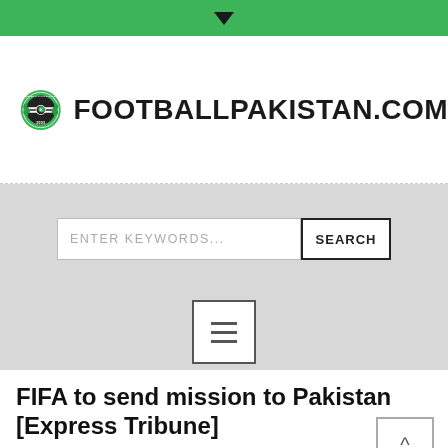[Figure (logo): FootballPakistan.com green badge logo with football design and '2003' text, alongside site name FOOTBALLPAKISTAN.COM in bold]
ENTER KEYWORDS... SEARCH (search bar UI)
[Figure (other): Hamburger menu icon button (three horizontal lines)]
FIFA to send mission to Pakistan [Express Tribune]
HOME / NATIONWIDE NEWS / FIFA TO SEND MISSION TO PAKISTAN [EXPRESS TRIBUNE]